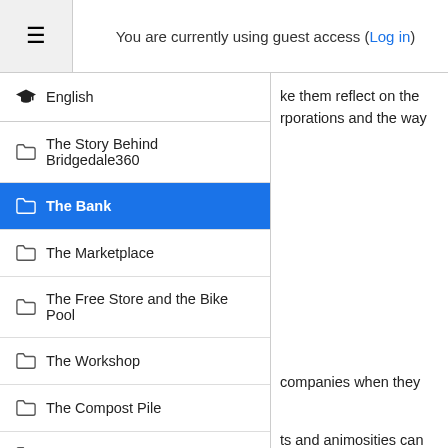You are currently using guest access (Log in)
ke them reflect on the rporations and the way
English
The Story Behind Bridgedale360
The Bank
The Marketplace
The Free Store and the Bike Pool
The Workshop
The Compost Pile
companies when they
The River and the Sea
ts and animosities can
The Garden and the Farm
fect thousands of